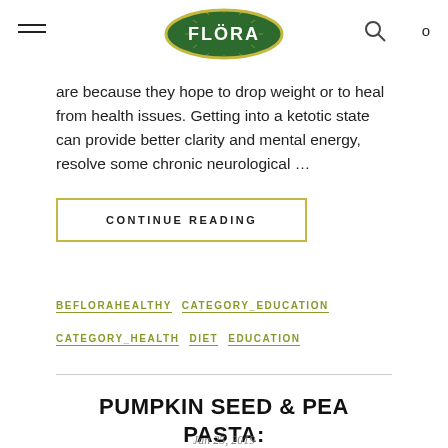Flora
are because they hope to drop weight or to heal from health issues. Getting into a ketotic state can provide better clarity and mental energy, resolve some chronic neurological …
CONTINUE READING
BEFLORAHEALTHY
CATEGORY_EDUCATION
CATEGORY_HEALTH
DIET
EDUCATION
PUMPKIN SEED & PEA PASTA: TWO WAYS
Jan 25, 2019